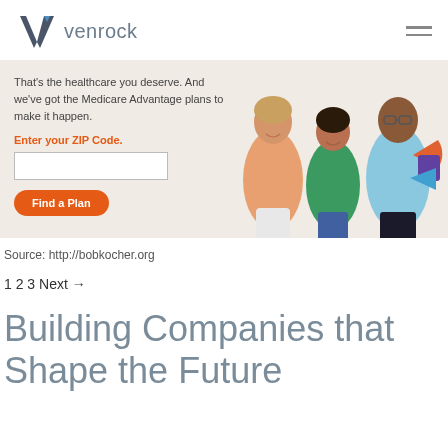[Figure (logo): Venrock logo: dark V chevron shape with small blue triangle, followed by text 'venrock' in grey]
[Figure (photo): Three people smiling: an older woman in peach top, a woman in green top, and a man in light blue polo holding colorful pie-chart shapes]
That's the healthcare you deserve. And we've got the Medicare Advantage plans to make it happen.
Enter your ZIP Code.
Find a Plan
Source: http://bobkocher.org
1 2 3 Next →
Building Companies that Shape the Future